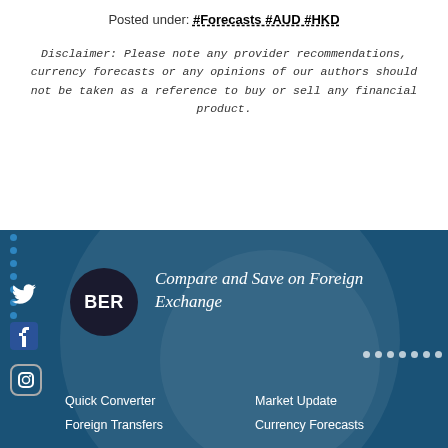Posted under: #Forecasts #AUD #HKD
Disclaimer: Please note any provider recommendations, currency forecasts or any opinions of our authors should not be taken as a reference to buy or sell any financial product.
[Figure (infographic): Dark blue footer section with BER logo circle, 'Compare and Save on Foreign Exchange' tagline in italic serif, decorative circles background, social media icons (Twitter, Facebook, Instagram), and navigation links (Quick Converter, Market Update, Foreign Transfers, Currency Forecasts)]
Quick Converter
Market Update
Foreign Transfers
Currency Forecasts